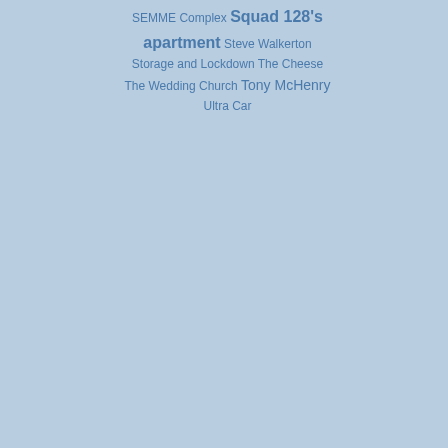SEMME Complex Squad 128's apartment Steve Walkerton Storage and Lockdown The Cheese The Wedding Church Tony McHenry Ultra Car
[Figure (illustration): Cartoon avatar of Jen Asio, a character with glasses and open mouth expression]
Jen Asio
October 23
How do I... all, and I...
[Figure (illustration): Cartoon avatar of Borg, a character with a wide grin]
Borg
October 23
They're a... stove, the... burner ho... be the pa... whole the...
[Figure (illustration): Cartoon avatar of LeslieBe, a character with dark hair]
LeslieBe
October 23
Indeed. C... needs a r...
Like sayi... burner is... element i...
[Figure (illustration): Cartoon avatar of ValdVin, a character with red hair]
ValdVin
October 23, 2019, 12:08 am | # | Repl...
My southern New England suburb... isn't even technically true for elect...